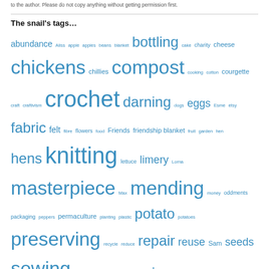to the author. Please do not copy anything without getting permission first.
The snail's tags…
abundance Aliss apple apples beans blanket bottling cake charity cheese chickens chillies compost cooking cotton courgette craft craftivism crochet darning dogs eggs Esme etsy fabric felt fibre flowers food Friends friendship blanket fruit garden hen hens knitting lettuce limery Lorna masterpiece Max mending money oddments packaging peppers permaculture planting plastic potato potatoes preserving recycle reduce repair reuse Sam seeds sewing Sixty Million Trebles slippers socks soil sowing squash stash sustainability tomato vegetables waste water wips wool writing yarn